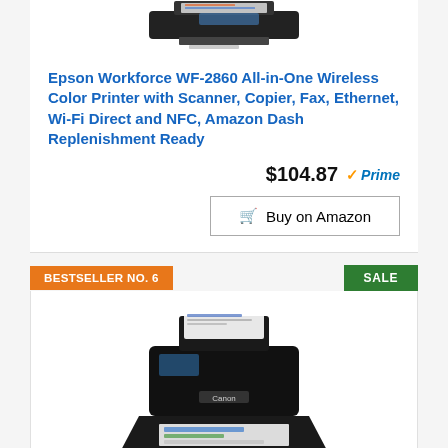[Figure (photo): Epson Workforce WF-2860 printer product image (top portion visible at top of page)]
Epson Workforce WF-2860 All-in-One Wireless Color Printer with Scanner, Copier, Fax, Ethernet, Wi-Fi Direct and NFC, Amazon Dash Replenishment Ready
$104.87 ✓Prime
Buy on Amazon
BESTSELLER NO. 6
SALE
[Figure (photo): Canon PIXMA TR4527 all-in-one printer product image]
Canon PIXMA TR4527 Wireless Color Photo